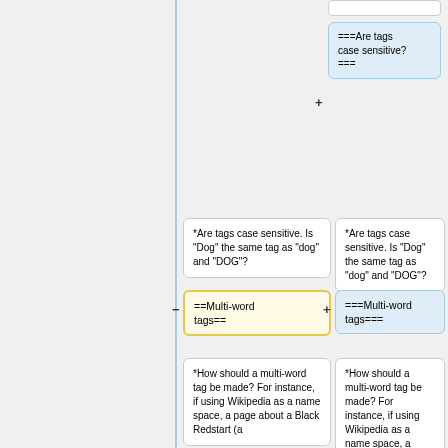===Are tags case sensitive?===
*Are tags case sensitive. Is "Dog" the same tag as "dog" and "DOG"?
*Are tags case sensitive. Is "Dog" the same tag as "dog" and "DOG"?
==Multi-word tags==
===Multi-word tags===
*How should a multi-word tag be made? For instance, if using Wikipedia as a name space, a page about a Black Redstart (a
*How should a multi-word tag be made? For instance, if using Wikipedia as a name space, a page about a Black Redstart (a